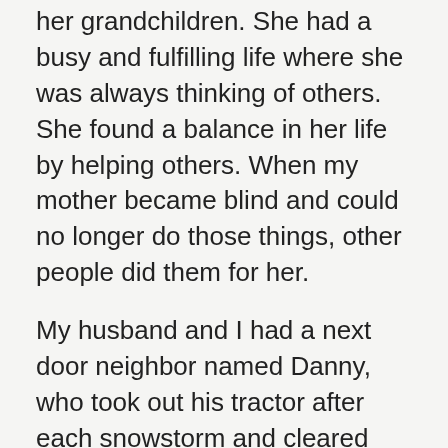her grandchildren. She had a busy and fulfilling life where she was always thinking of others. She found a balance in her life by helping others. When my mother became blind and could no longer do those things, other people did them for her.
My husband and I had a next door neighbor named Danny, who took out his tractor after each snowstorm and cleared our driveway for us, without charge. Our neighbors moved out and the home next to us was vacant. We wondered what we would do for snow removal. Danny and his family lived several blocks away. During a snow storm, he drove his tractor over to